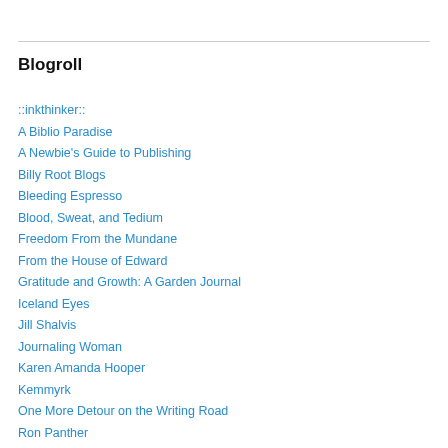Blogroll
::inkthinker::
A Biblio Paradise
A Newbie's Guide to Publishing
Billy Root Blogs
Bleeding Espresso
Blood, Sweat, and Tedium
Freedom From the Mundane
From the House of Edward
Gratitude and Growth: A Garden Journal
Iceland Eyes
Jill Shalvis
Journaling Woman
Karen Amanda Hooper
Kemmyrk
One More Detour on the Writing Road
Ron Panther